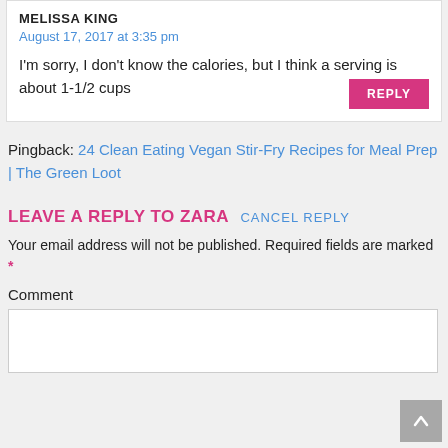MELISSA KING
August 17, 2017 at 3:35 pm
I'm sorry, I don't know the calories, but I think a serving is about 1-1/2 cups
REPLY
Pingback: 24 Clean Eating Vegan Stir-Fry Recipes for Meal Prep | The Green Loot
LEAVE A REPLY TO ZARA CANCEL REPLY
Your email address will not be published. Required fields are marked *
Comment